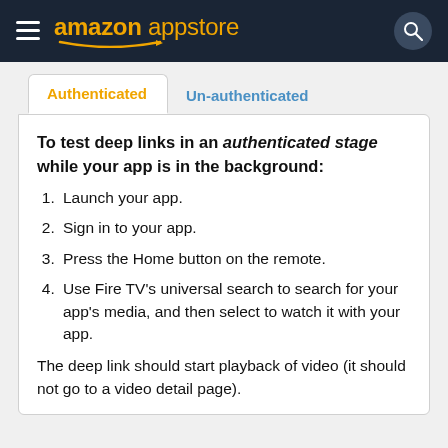amazon appstore
Authenticated | Un-authenticated
To test deep links in an authenticated stage while your app is in the background:
1. Launch your app.
2. Sign in to your app.
3. Press the Home button on the remote.
4. Use Fire TV's universal search to search for your app's media, and then select to watch it with your app.
The deep link should start playback of video (it should not go to a video detail page).